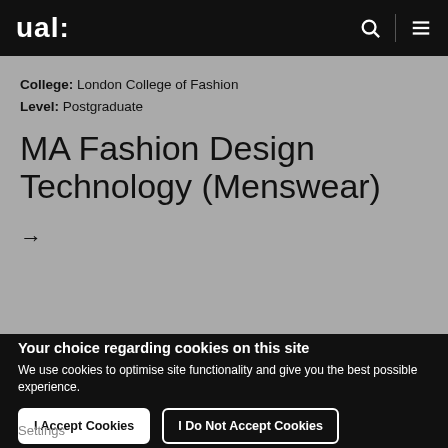ual:
College: London College of Fashion
Level: Postgraduate
MA Fashion Design Technology (Menswear)
Your choice regarding cookies on this site
We use cookies to optimise site functionality and give you the best possible experience.
I Accept Cookies
I Do Not Accept Cookies
Settings